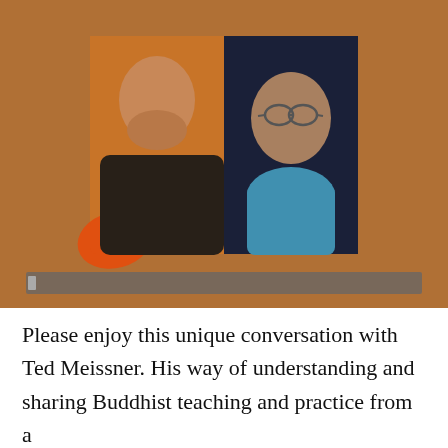[Figure (photo): A screenshot of a video call showing two men smiling. The left man is bald, wearing a dark shirt, with an orange pillow visible behind him, against a warm brownish-orange background. The right man is wearing glasses and a blue shirt, against a dark blue background. The overall frame has a brownish-orange background.]
Please enjoy this unique conversation with Ted Meissner. His way of understanding and sharing Buddhist teaching and practice from a